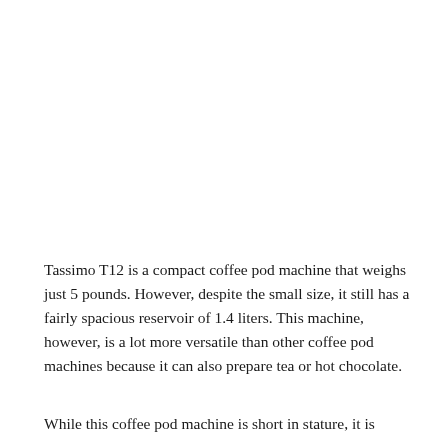Tassimo T12 is a compact coffee pod machine that weighs just 5 pounds. However, despite the small size, it still has a fairly spacious reservoir of 1.4 liters. This machine, however, is a lot more versatile than other coffee pod machines because it can also prepare tea or hot chocolate.
While this coffee pod machine is short in stature, it is